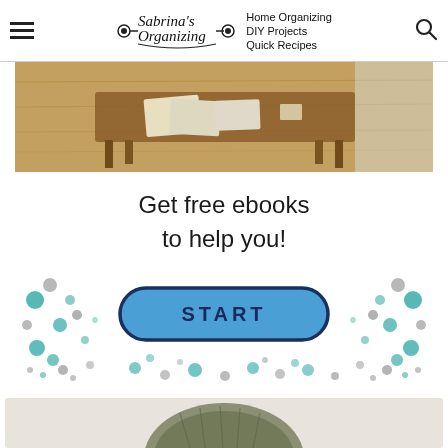Sabrina's Organizing — Home Organizing, DIY Projects, Quick Recipes
[Figure (photo): Photo of a wooden coffee table with papers and items on it, hardwood floor, natural light from window]
Get free ebooks to help you!
[Figure (other): CTA banner with teal and grey polka dots pattern and a blue START button with dark navy border]
[Figure (photo): Bottom partial image, appears to show green/grey textured object cropped at bottom of page]